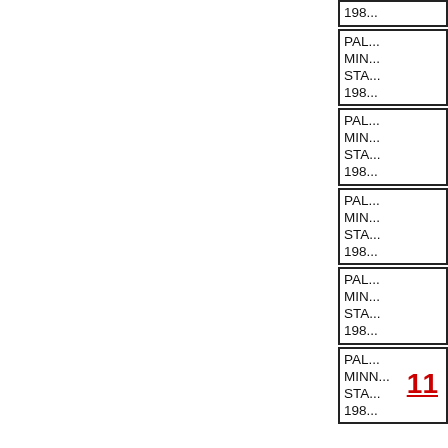198...
PAL...
MIN...
STA...
198...
PAL...
MIN...
STA...
198...
PAL...
MIN...
STA...
198...
PAL...
MIN...
STA...
198...
PAL...
MINN...
STA...
198...
11